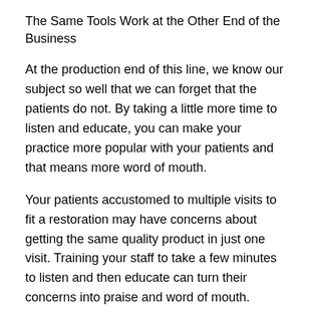The Same Tools Work at the Other End of the Business
At the production end of this line, we know our subject so well that we can forget that the patients do not. By taking a little more time to listen and educate, you can make your practice more popular with your patients and that means more word of mouth.
Your patients accustomed to multiple visits to fit a restoration may have concerns about getting the same quality product in just one visit. Training your staff to take a few minutes to listen and then educate can turn their concerns into praise and word of mouth.
There are other channels of listening and educating. Provide an email address your patients to ask questions or air concerns. Don’t forget to assign a staff member to acquire and relay answers. Also answer commonly asked questions in printed or emailed newsletters. Schedule workshops in the evenings to cover these same points. You don’t have to do the workshops yourself if you have an experienced staff member who knows the technical side of your